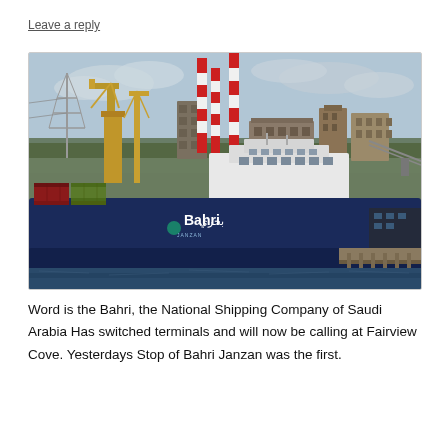Leave a reply
[Figure (photo): A large dark-blue cargo/RoRo ship branded 'Bahri' docked at a port. Red and white striped smokestacks and yellow cranes are visible in the background, along with city buildings on a hillside. The ship's hull reads 'Bahri' in English and Arabic script.]
Word is the Bahri, the National Shipping Company of Saudi Arabia Has switched terminals and will now be calling at Fairview Cove. Yesterdays Stop of Bahri Janzan was the first.